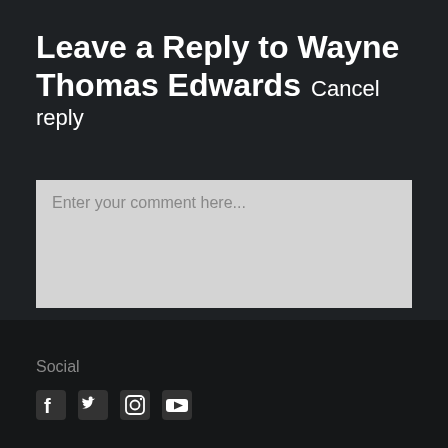Leave a Reply to Wayne Thomas Edwards Cancel reply
Enter your comment here...
Social
[Figure (illustration): Social media icons: Facebook, Twitter, Instagram, YouTube]